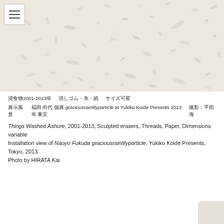[Figure (photo): Overhead view of scattered small white sculpted eraser pieces and paper threads arranged on a light white/cream surface, photographed from above. The objects vary in shape — oval, rectangular, cylindrical, irregular — and are spread across the surface creating a constellation-like pattern. A hamburger menu icon (three horizontal lines) is visible in the upper left corner.]
❑❑❑❑❑2001-2013❑　　❑❑❑❑❑❑❑❑❑　❑❑❑❑❑
❑❑❑❑❑　❑❑ ❑❑ ❑❑❑❑❑❑❑❑❑❑❑❑❑❑❑❑❑2013❑❑　❑❑❑❑❑❑❑
Things Washed Ashore, 2001-2013, Sculpted erasers, Threads, Paper, Dimensions variable
Installation view of Naoyo Fukuda graciousrainlilyparticle, Yukiko Koide Presents, Tokyo, 2013
Photo by HIRATA Kai